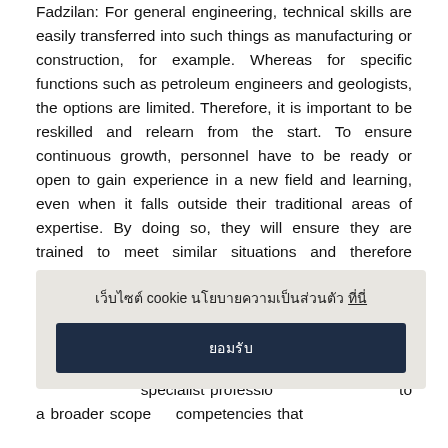Fadzilan: For general engineering, technical skills are easily transferred into such things as manufacturing or construction, for example. Whereas for specific functions such as petroleum engineers and geologists, the options are limited. Therefore, it is important to be reskilled and relearn from the start. To ensure continuous growth, personnel have to be ready or open to gain experience in a new field and learning, even when it falls outside their traditional areas of expertise. By doing so, they will ensure they are trained to meet similar situations and therefore establish a safety net for themselves.
Nemala: This is a very broad question. The more generic and common pr... professionals or ... themselves to oth... specialist professio... to a broader scope... competencies that ...
[Figure (other): Cookie consent overlay popup with Thai text and a dark navy 'accept' button]